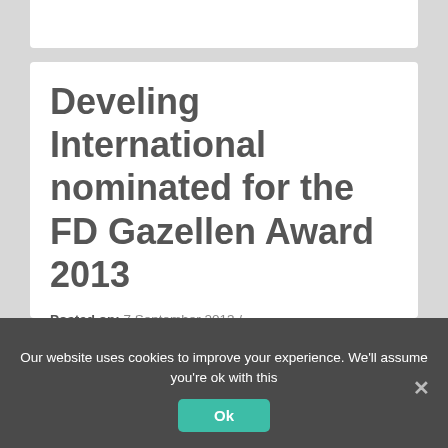Develing International nominated for the FD Gazellen Award 2013
Posted on: 7 September 2013 /
Categories: Develing International publications
Develing International finished in the top 5, in the category big enterprises on the rankinglist of the Golden FD Gazellen Award. Despite difficult
Our website uses cookies to improve your experience. We'll assume you're ok with this